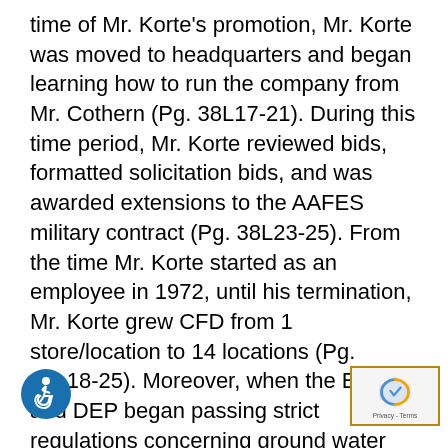time of Mr. Korte's promotion, Mr. Korte was moved to headquarters and began learning how to run the company from Mr. Cothern (Pg. 38L17-21). During this time period, Mr. Korte reviewed bids, formatted solicitation bids, and was awarded extensions to the AAFES military contract (Pg. 38L23-25). From the time Mr. Korte started as an employee in 1972, until his termination, Mr. Korte grew CFD from 1 store/location to 14 locations (Pg. 40L18-25). Moreover, when the EPA and DEP began passing strict regulations concerning ground water contamination, Mr. Korte caused all inspections to pass with flying colors (Pg. 45L19-22). Indeed, despite the dry-cleaning business being a highly-regulated industry, while Mr. Korte worked for CFD, Mr. Korte and/or CFD were never cited for anything including by the EPA (Pg. 48L19-25 & Pg.49L…). Additionally, as a 36-year- employee of CFD, Korte was never written up or reprimanded (Pg.